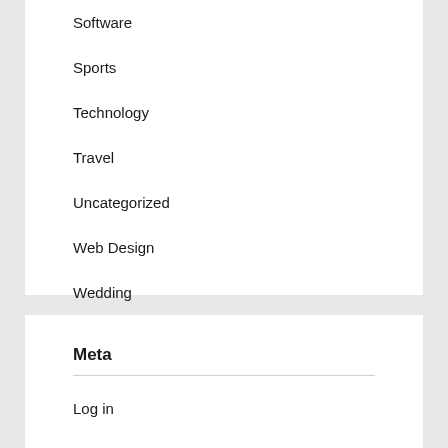Software
Sports
Technology
Travel
Uncategorized
Web Design
Wedding
Meta
Log in
Entries feed